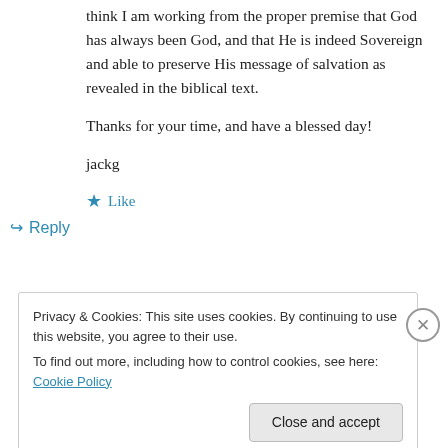think I am working from the proper premise that God has always been God, and that He is indeed Sovereign and able to preserve His message of salvation as revealed in the biblical text.

Thanks for your time, and have a blessed day!

jackg
Like
Reply
Privacy & Cookies: This site uses cookies. By continuing to use this website, you agree to their use.
To find out more, including how to control cookies, see here: Cookie Policy
Close and accept